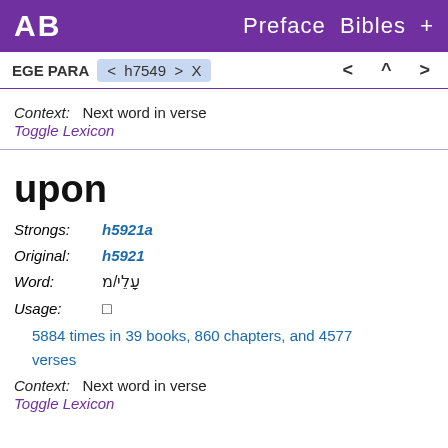AB   Preface  Bibles  +
EGE PARA   < h7549 >  X        <  ^  >
Context:   Next word in verse
Toggle Lexicon
upon
Strongs:   h5921a
Original:   h5921
Word:   עָלֵי/מ
Usage:
5884 times in 39 books, 860 chapters, and 4577 verses
Context:   Next word in verse
Toggle Lexicon